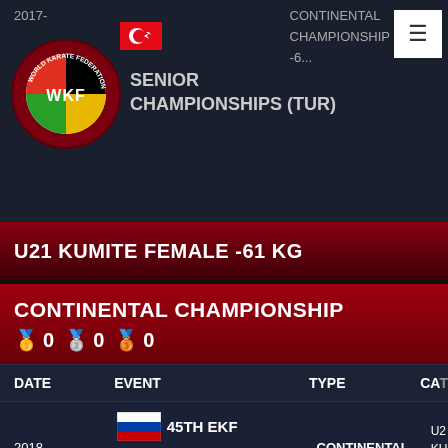2017- [Turkey flag] SENIOR CHAMPIONSHIPS (TUR) | CONTINENTAL CHAMPIONSHIP -6...
U21 KUMITE FEMALE -61 KG
CONTINENTAL CHAMPIONSHIP
🥇 0 🥈 0 🥉 0
| DATE | EVENT | TYPE | CAT |
| --- | --- | --- | --- |
| 2018-02-02 | 45TH EKF JUNIOR & CADET AND U21 CHAMPIONSHIPS (RUS) | CONTINENTAL CHAMPIONSHIP | U21 KUMITE FEMALE -6... |
U21 KUMITE FEMALE -68 KG
WORLD CHAMPIONSHIP